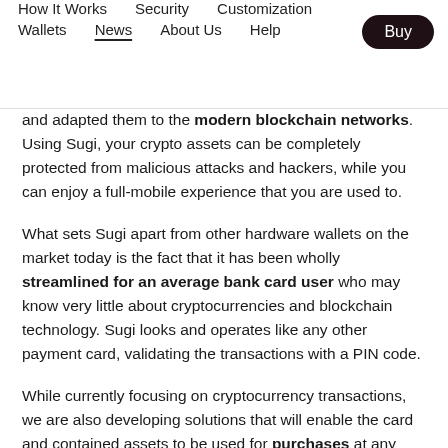How It Works   Security   Customization   Wallets   News   About Us   Help   Buy
and adapted them to the modern blockchain networks. Using Sugi, your crypto assets can be completely protected from malicious attacks and hackers, while you can enjoy a full-mobile experience that you are used to.
What sets Sugi apart from other hardware wallets on the market today is the fact that it has been wholly streamlined for an average bank card user who may know very little about cryptocurrencies and blockchain technology. Sugi looks and operates like any other payment card, validating the transactions with a PIN code.
While currently focusing on cryptocurrency transactions, we are also developing solutions that will enable the card and contained assets to be used for purchases at any POS anywhere in the world or for withdrawing money at any ATM.
Keep your keys safe